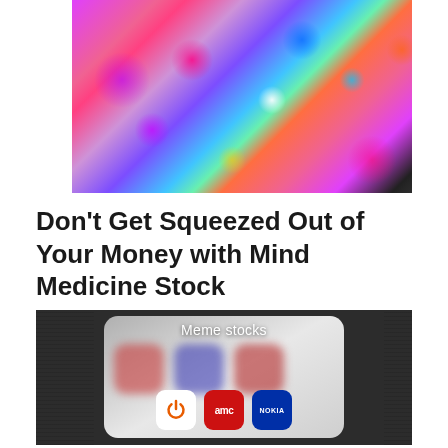[Figure (photo): Blurred colorful bokeh lights — pink, purple, red, green, blue, yellow — against a dark background, suggesting festive or abstract lighting]
Don't Get Squeezed Out of Your Money with Mind Medicine Stock
[Figure (photo): Phone screen showing 'Meme stocks' label with app icons including a power button icon, AMC (red), and NOKIA (dark blue), set against a dark background with paper texture on the left side]